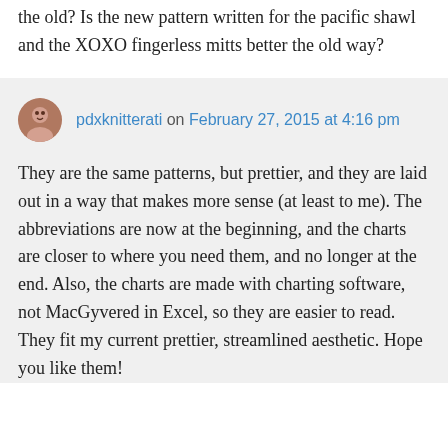the old? Is the new pattern written for the pacific shawl and the XOXO fingerless mitts better the old way?
pdxknitterati on February 27, 2015 at 4:16 pm
They are the same patterns, but prettier, and they are laid out in a way that makes more sense (at least to me). The abbreviations are now at the beginning, and the charts are closer to where you need them, and no longer at the end. Also, the charts are made with charting software, not MacGyvered in Excel, so they are easier to read. They fit my current prettier, streamlined aesthetic. Hope you like them!